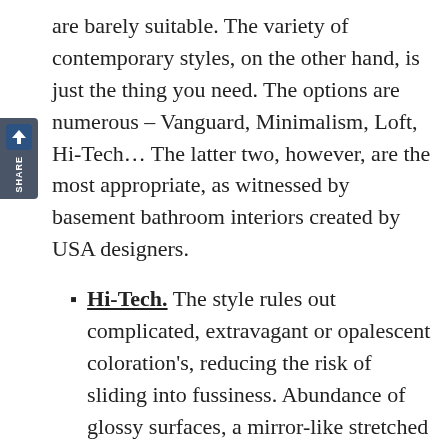are barely suitable. The variety of contemporary styles, on the other hand, is just the thing you need. The options are numerous – Vanguard, Minimalism, Loft, Hi-Tech… The latter two, however, are the most appropriate, as witnessed by basement bathroom interiors created by USA designers.
Hi-Tech. The style rules out complicated, extravagant or opalescent coloration's, reducing the risk of sliding into fussiness. Abundance of glossy surfaces, a mirror-like stretched ceiling, the noble shining of metal elements and the airiness of glass decorations – all these factors broaden the underground bathroom visually. As a